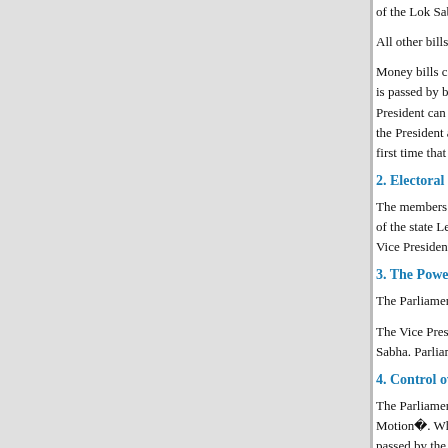of the Lok Sabha who decides wether a bill is a money
All other bills are called ordinary bills or a non-money
Money bills can be introduced only in the Lok Sabha, is passed by both the Houses it is sent to the President. President can send an ordinary bill back for reconsider the President and the second time, the President must s first time that it comes to him.
2. Electoral Functions
The members of Parliament perform certain electoral f of the state Legislative Assemblies form the electoral c Vice President of India.
3. The Power of Removal
The Parliament has the power of removing the Preside
The Vice President of India can be removed by a resol Sabha. Parliament also has the power of removing the
4. Control over the Executive
The Parliament keeps a check on the functioning of the Motion�. When the opposition feels that the governm passed by the Lok Sabha, the government has to resign